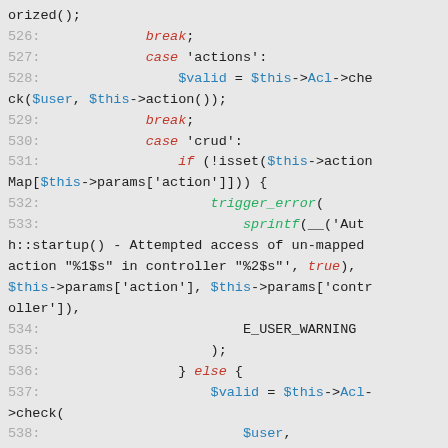[Figure (screenshot): PHP source code snippet showing lines 526-544, with syntax highlighting. Line numbers in gray, keywords in red italic, variables in blue, function names in green italic, on a light gray background.]